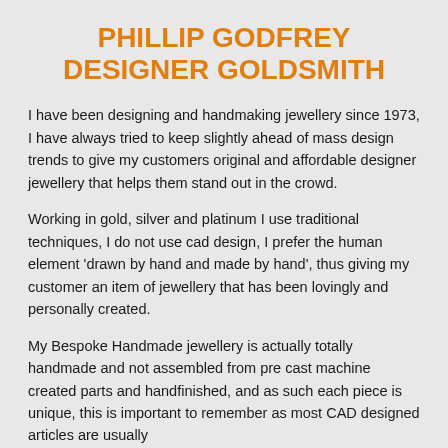PHILLIP GODFREY DESIGNER GOLDSMITH
I have been designing and handmaking jewellery since 1973, I have always tried to keep slightly ahead of mass design trends to give my customers original and affordable designer jewellery that helps them stand out in the crowd.
Working in gold, silver and platinum I use traditional techniques, I do not use cad design, I prefer the human element 'drawn by hand and made by hand', thus giving my customer an item of jewellery that has been lovingly and personally created.
My Bespoke Handmade jewellery is actually totally handmade and not assembled from pre cast machine created parts and handfinished, and as such each piece is unique, this is important to remember as most CAD designed articles are usually